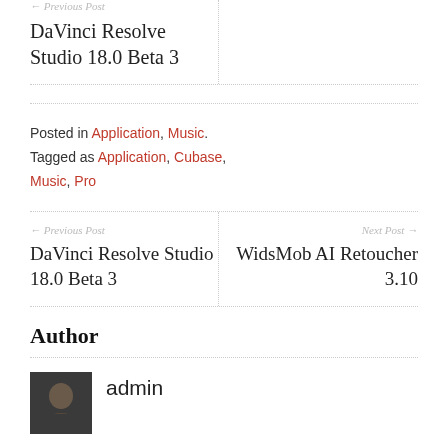← Previous Post
DaVinci Resolve Studio 18.0 Beta 3
Posted in Application, Music. Tagged as Application, Cubase, Music, Pro
← Previous Post
DaVinci Resolve Studio 18.0 Beta 3
Next Post →
WidsMob AI Retoucher 3.10
Author
admin